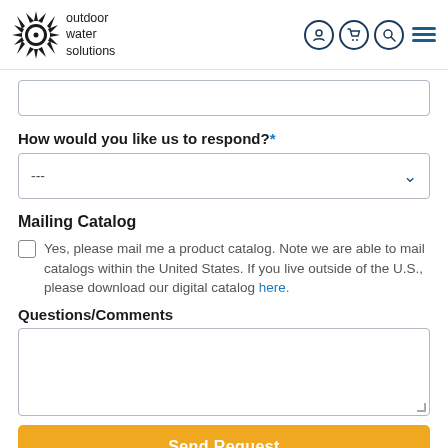[Figure (logo): Outdoor Water Solutions logo — sunburst/starburst black icon with white circle center, text reads 'outdoor water solutions']
How would you like us to respond?*
--- (dropdown selector)
Mailing Catalog
Yes, please mail me a product catalog. Note we are able to mail catalogs within the United States. If you live outside of the U.S., please download our digital catalog here.
Questions/Comments
Send Request